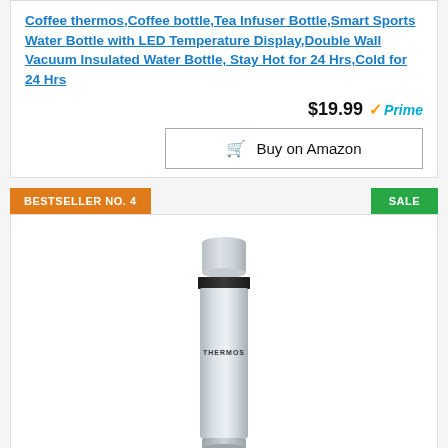Coffee thermos,Coffee bottle,Tea Infuser Bottle,Smart Sports Water Bottle with LED Temperature Display,Double Wall Vacuum Insulated Water Bottle, Stay Hot for 24 Hrs,Cold for 24 Hrs
$19.99 Prime
Buy on Amazon
BESTSELLER NO. 4
SALE
[Figure (photo): A stainless steel Thermos brand vacuum insulated bottle, slim cylindrical shape with a black band near the top and Thermos branding on the body.]